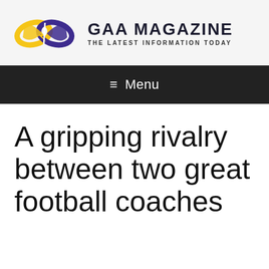[Figure (logo): GAA Magazine logo with overlapping yellow and purple infinity/wing shapes and brand name]
≡ Menu
A gripping rivalry between two great football coaches